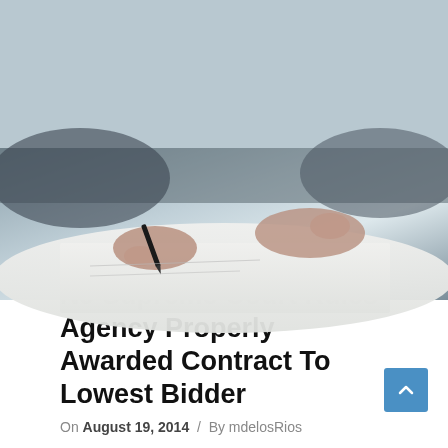[Figure (photo): A person signing a document with a pen on white paper, hands visible from above, grayscale/muted tones.]
Categories : NJ Supreme Court Reporter / Public Contracts  Tags : New Jersey public bidding law / New Jersey public contracts
Leave a comment
NJ Supreme Court Rules Agency Properly Awarded Contract To Lowest Bidder
On August 19, 2014 / By mdelosRios
The Supreme Court of New Jersey recently ruled that the New Jersey Division of Property Management and Construction (Division) acted properly when it awarded a